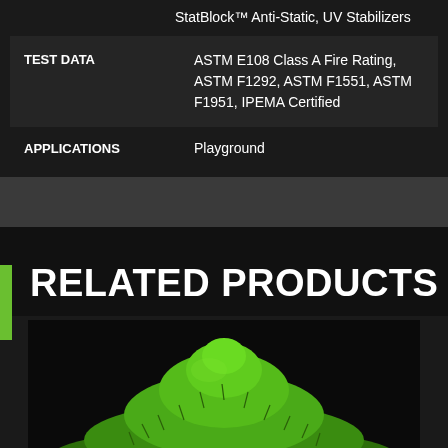StatBlock™ Anti-Static, UV Stabilizers
| TEST DATA | ASTM E108 Class A Fire Rating, ASTM F1292, ASTM F1551, ASTM F1951, IPEMA Certified |
| APPLICATIONS | Playground |
RELATED PRODUCTS
[Figure (photo): A pile of green rubber crumb infill material against a dark background]